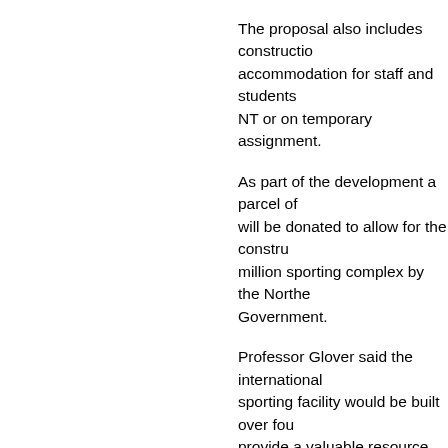The proposal also includes construction accommodation for staff and students in the NT or on temporary assignment.
As part of the development a parcel of land will be donated to allow for the construction a million sporting complex by the Northern Territory Government.
Professor Glover said the international standard sporting facility would be built over four stages and provide a valuable resource for the Palmerston community and for CDU.
“This is a unique opportunity for Palmerston and University to grow together and invest in the future of the city and generations of students to